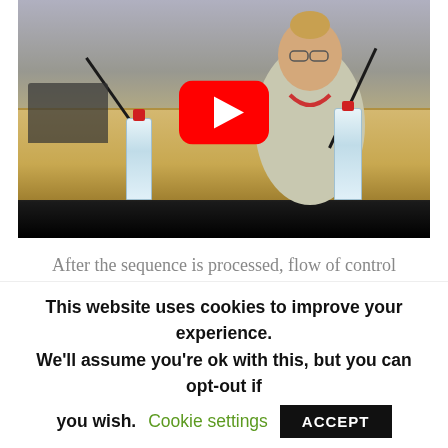[Figure (screenshot): YouTube video thumbnail of a woman sitting at a conference table with microphones and water bottles, with a red YouTube play button overlay in the center]
After the sequence is processed, flow of control proceeds right tworija the position where the call
This website uses cookies to improve your experience. We'll assume you're ok with this, but you can opt-out if you wish. Cookie settings ACCEPT